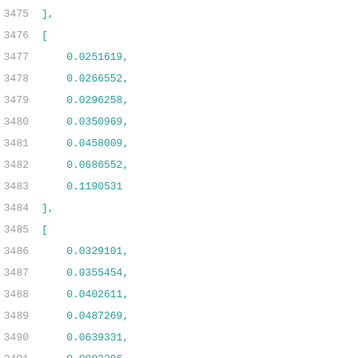3475    ],
3476    [
3477        0.0251619,
3478        0.0266552,
3479        0.0296258,
3480        0.0350969,
3481        0.0458009,
3482        0.0686552,
3483        0.1190531
3484    ],
3485    [
3486        0.0329101,
3487        0.0355454,
3488        0.0402611,
3489        0.0487269,
3490        0.0639331,
3491        0.0883296,
3492        0.1384143
3493    ],
3494    [
3495        0.0393271,